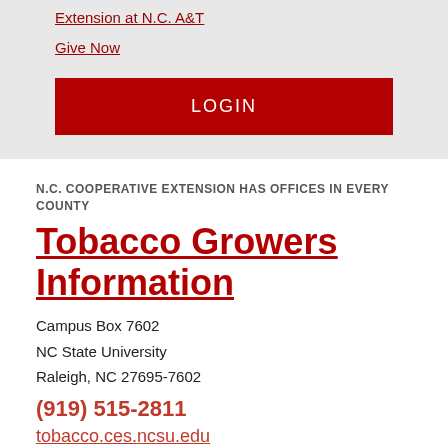Extension at N.C. A&T
Give Now
LOGIN
N.C. COOPERATIVE EXTENSION HAS OFFICES IN EVERY COUNTY
Tobacco Growers Information
Campus Box 7602
NC State University
Raleigh, NC 27695-7602
(919) 515-2811
tobacco.ces.ncsu.edu